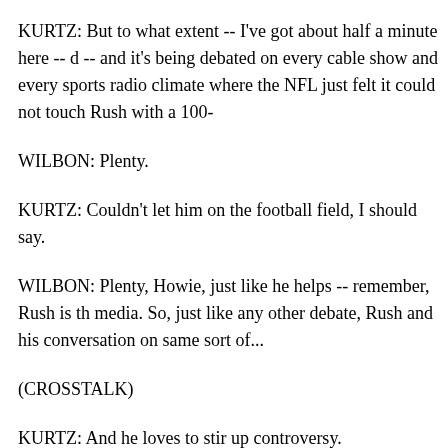KURTZ: But to what extent -- I've got about half a minute here -- d -- and it's being debated on every cable show and every sports radio climate where the NFL just felt it could not touch Rush with a 100-
WILBON: Plenty.
KURTZ: Couldn't let him on the football field, I should say.
WILBON: Plenty, Howie, just like he helps -- remember, Rush is th media. So, just like any other debate, Rush and his conversation on same sort of...
(CROSSTALK)
KURTZ: And he loves to stir up controversy.